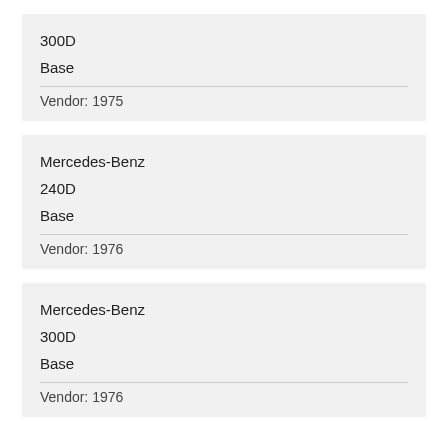300D
Base
Vendor: 1975
Mercedes-Benz
240D
Base
Vendor: 1976
Mercedes-Benz
300D
Base
Vendor: 1976